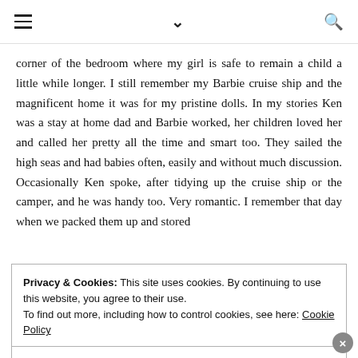≡  ∨  🔍
corner of the bedroom where my girl is safe to remain a child a little while longer. I still remember my Barbie cruise ship and the magnificent home it was for my pristine dolls. In my stories Ken was a stay at home dad and Barbie worked, her children loved her and called her pretty all the time and smart too. They sailed the high seas and had babies often, easily and without much discussion. Occasionally Ken spoke, after tidying up the cruise ship or the camper, and he was handy too. Very romantic. I remember that day when we packed them up and stored
Privacy & Cookies: This site uses cookies. By continuing to use this website, you agree to their use.
To find out more, including how to control cookies, see here: Cookie Policy
Close and accept
athlete, an astronaut, defying gravity and often doing